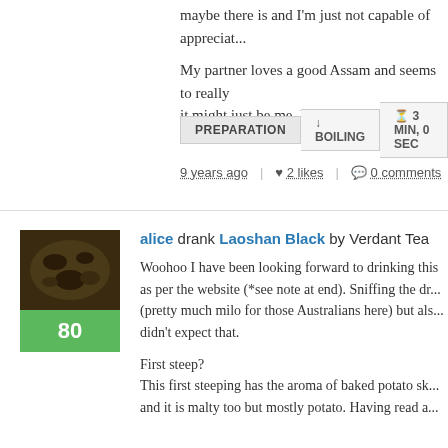maybe there is and I'm just not capable of appreciat...
My partner loves a good Assam and seems to really... it might just be me. Perhaps I need a crash course i...
PREPARATION  ↓ BOILING  ⏱ 3 MIN, 0 SEC
9 years ago | ♥ 2 likes | 💬 0 comments
alice drank Laoshan Black by Verdant Tea
Woohoo I have been looking forward to drinking this as per the website (*see note at end). Sniffing the dr... (pretty much milo for those Australians here) but als... didn't expect that.
First steep?
This first steeping has the aroma of baked potato sk... and it is malty too but mostly potato. Having read a...